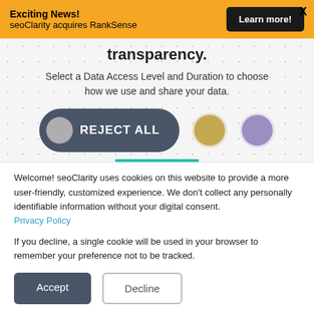[Figure (screenshot): Orange banner with 'Exciting News! seoClarity acquires RankSense' text, a 'Learn more!' dark button, and an X close button]
transparency.
Select a Data Access Level and Duration to choose how we use and share your data.
[Figure (screenshot): Cookie consent buttons row: dark pill-shaped 'REJECT ALL' button with grey circle icon, a gold circle, and a purple circle]
Welcome! seoClarity uses cookies on this website to provide a more user-friendly, customized experience. We don't collect any personally identifiable information without your digital consent. Privacy Policy
If you decline, a single cookie will be used in your browser to remember your preference not to be tracked.
[Figure (screenshot): Two buttons: dark 'Accept' button and white 'Decline' button with border]